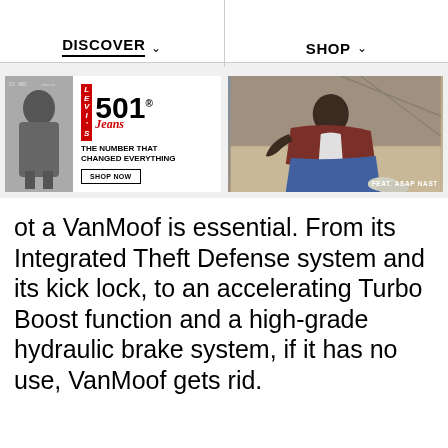DISCOVER ∨   SHOP ∨
[Figure (photo): Levi's 501 Jeans advertisement with black-and-white photo of person and text 'THE NUMBER THAT CHANGED EVERYTHING' with SHOP NOW button]
[Figure (photo): Fashion photo of man in Levi's jeans lying down, text reads 'FEAT. ASAP NAST']
ot a VanMoof is essential. From its Integrated Theft Defense system and its kick lock, to an accelerating Turbo Boost function and a high-grade hydraulic brake system, if it has no use, VanMoof gets rid.